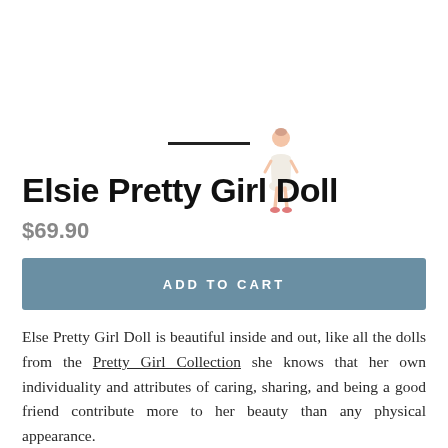[Figure (illustration): Small doll figurine wearing a white outfit with pink shoes, positioned near a short horizontal black line]
Elsie Pretty Girl Doll
$69.90
ADD TO CART
Else Pretty Girl Doll is beautiful inside and out, like all the dolls from the Pretty Girl Collection she knows that her own individuality and attributes of caring, sharing, and being a good friend contribute more to her beauty than any physical appearance.